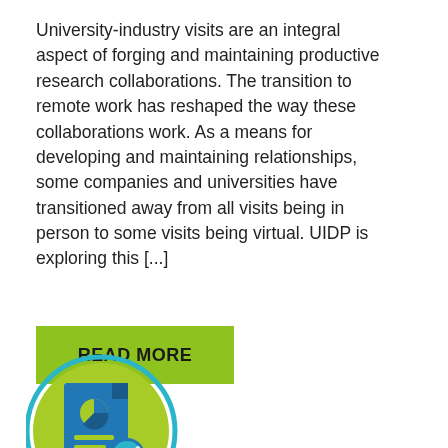University-industry visits are an integral aspect of forging and maintaining productive research collaborations. The transition to remote work has reshaped the way these collaborations work. As a means for developing and maintaining relationships, some companies and universities have transitioned away from all visits being in person to some visits being virtual. UIDP is exploring this [...]
READ MORE
[Figure (illustration): Circular icon with a light green background and teal/blue document icon featuring a pie chart and checklist with a blue checkmark badge]